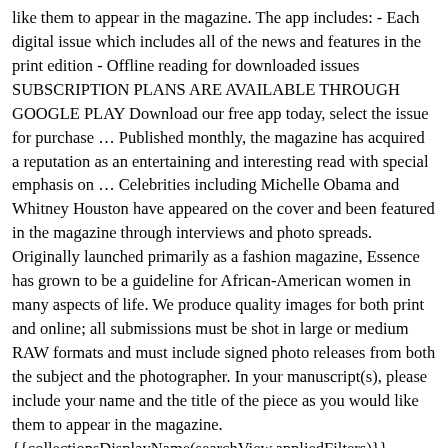like them to appear in the magazine. The app includes: - Each digital issue which includes all of the news and features in the print edition - Offline reading for downloaded issues SUBSCRIPTION PLANS ARE AVAILABLE THROUGH GOOGLE PLAY Download our free app today, select the issue for purchase … Published monthly, the magazine has acquired a reputation as an entertaining and interesting read with special emphasis on … Celebrities including Michelle Obama and Whitney Houston have appeared on the cover and been featured in the magazine through interviews and photo spreads. Originally launched primarily as a fashion magazine, Essence has grown to be a guideline for African-American women in many aspects of life. We produce quality images for both print and online; all submissions must be shot in large or medium RAW formats and must include signed photo releases from both the subject and the photographer. In your manuscript(s), please include your name and the title of the piece as you would like them to appear in the magazine. {{collectionsDisplayName(searchView.appliedFilters)}}, {{searchText.groupByEventToggleImages()}}, {{searchText.groupByEventToggleEvents()}}. Essence is the bi-monthly member magazine of the Australian Breastfeeding Association (ABA). Download the newly updated ESSENCE magazine app and experience the fierce, fun and fabulous features you love, wherever you go. Too many images selected. Thank you for your interest in sharing your talents with our visitors! Its.